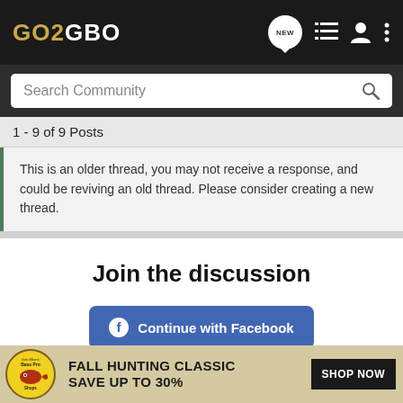GO2GBO
Search Community
1 - 9 of 9 Posts
This is an older thread, you may not receive a response, and could be reviving an old thread. Please consider creating a new thread.
Join the discussion
Continue with Facebook
Continue with Google
or sign up with email
[Figure (infographic): Bass Pro Shops advertisement banner: FALL HUNTING CLASSIC SAVE UP TO 30% with SHOP NOW button]